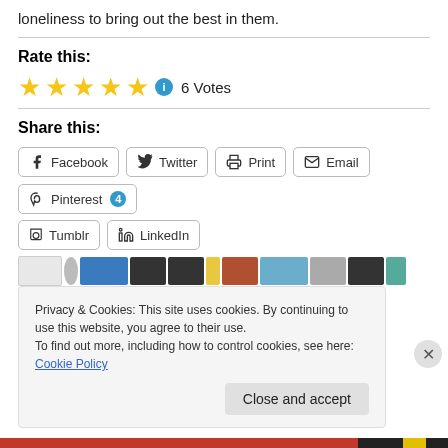loneliness to bring out the best in them.
Rate this:
★★★★★ ⓘ 6 Votes
Share this:
Facebook
Twitter
Print
Email
Pinterest 4
Tumblr
LinkedIn
Privacy & Cookies: This site uses cookies. By continuing to use this website, you agree to their use.
To find out more, including how to control cookies, see here: Cookie Policy